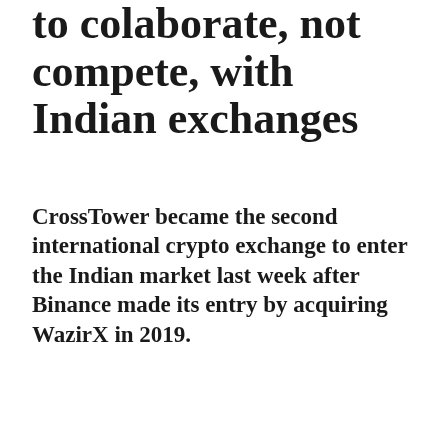to colaborate, not compete, with Indian exchanges
CrossTower became the second international crypto exchange to enter the Indian market last week after Binance made its entry by acquiring WazirX in 2019.